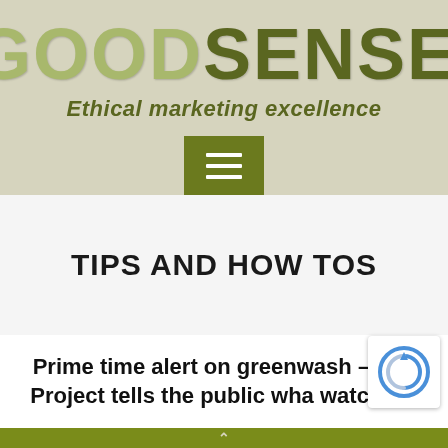[Figure (logo): GoodSense logo with tagline 'Ethical marketing excellence' and hamburger menu button on olive/beige background]
TIPS AND HOW TOS
Prime time alert on greenwash – The Project tells the public what to watch for